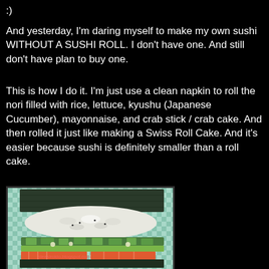:)
And yesterday, I'm daring myself to make my own sushi WITHOUT A SUSHI ROLL. I don't have one. And still don't have plan to buy one.
This is how I do it. I'm just use a clean napkin to roll the nori filled with rice, lettuce, kyushu (Japanese Cucumber), mayonnaise, and crab stick / crab cake. And then rolled it just like making a Swiss Roll Cake. And it's easier because sushi is definitely smaller than a roll cake.
[Figure (photo): Unrolled sushi on a checkered cloth napkin showing nori (seaweed), white rice, green lettuce, cucumber, and crab sticks arranged ready to be rolled]